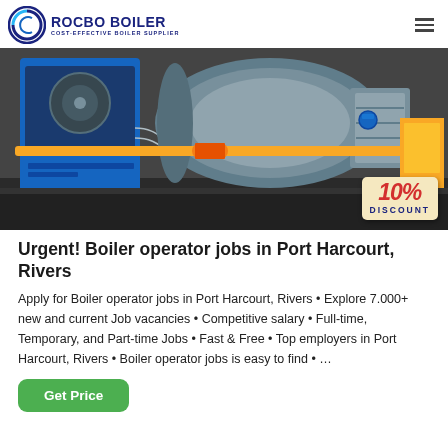ROCBO BOILER — COST-EFFECTIVE BOILER SUPPLIER
[Figure (photo): Industrial boiler equipment with blue machinery on left, large grey cylindrical boiler in center, yellow gas pipe running horizontally, and yellow cabinet on right. A '10% DISCOUNT' badge appears in the lower right corner of the image.]
Urgent! Boiler operator jobs in Port Harcourt, Rivers
Apply for Boiler operator jobs in Port Harcourt, Rivers • Explore 7.000+ new and current Job vacancies • Competitive salary • Full-time, Temporary, and Part-time Jobs • Fast & Free • Top employers in Port Harcourt, Rivers • Boiler operator jobs is easy to find • …
Get Price